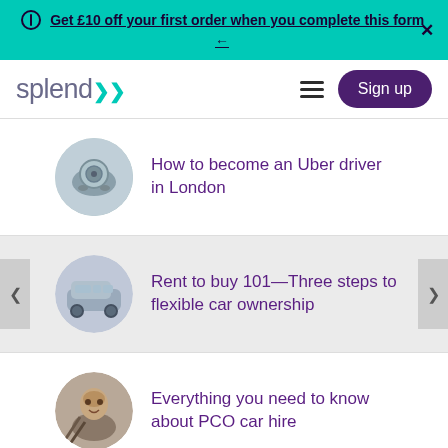Get £10 off your first order when you complete this form →
[Figure (logo): Splend logo with teal chevron icon]
How to become an Uber driver in London
Rent to buy 101—Three steps to flexible car ownership
Everything you need to know about PCO car hire